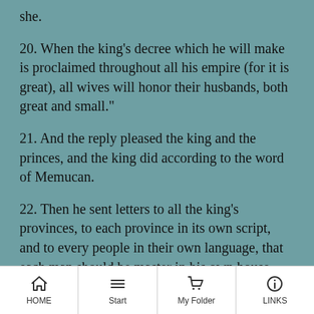she.
20. When the king's decree which he will make is proclaimed throughout all his empire (for it is great), all wives will honor their husbands, both great and small."
21. And the reply pleased the king and the princes, and the king did according to the word of Memucan.
22. Then he sent letters to all the king's provinces, to each province in its own script, and to every people in their own language, that each man should be master in his own house, and speak in the language of his own people
HOME   Start   My Folder   LINKS